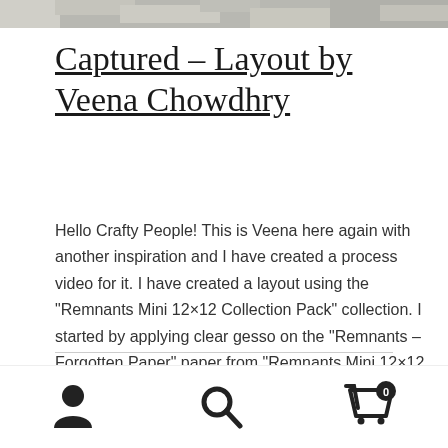[Figure (photo): Partial photo at top of page showing textured grey/stone surface]
Captured – Layout by Veena Chowdhry
Hello Crafty People! This is Veena here again with another inspiration and I have created a process video for it. I have created a layout using the "Remnants Mini 12×12 Collection Pack" collection. I started by applying clear gesso on the "Remnants – Forgotten Paper" paper from "Remnants Mini 12×12 Collection Pack". Once dried, I [...]
Category: Design Team Project
Tags: layout, mixed, Scrap Patch...
navigation icons: account, search, cart (0)